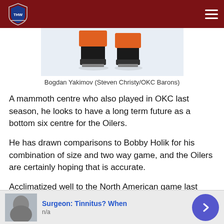THW Hockey Writers header
[Figure (photo): Hockey player skates visible from knees down on ice, wearing orange pants]
Bogdan Yakimov (Steven Christy/OKC Barons)
A mammoth centre who also played in OKC last season, he looks to have a long term future as a bottom six centre for the Oilers.
He has drawn comparisons to Bobby Holik for his combination of size and two way game, and the Oilers are certainly hoping that is accurate.
Acclimatized well to the North American game last season in his first season on the...
[Figure (photo): Advertisement: Surgeon: Tinnitus? When - n/a]